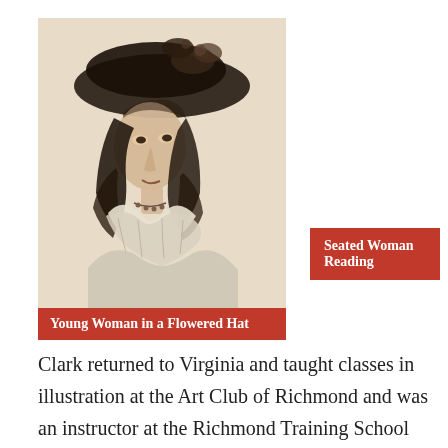[Figure (illustration): Black and white sketch/etching portrait of a young woman wearing a large flowered hat, with flowing dark hair and ruffled collar, in a vintage style.]
Young Woman in a Flowered Hat
Seated Woman Reading
Clark returned to Virginia and taught classes in illustration at the Art Club of Richmond and was an instructor at the Richmond Training School for